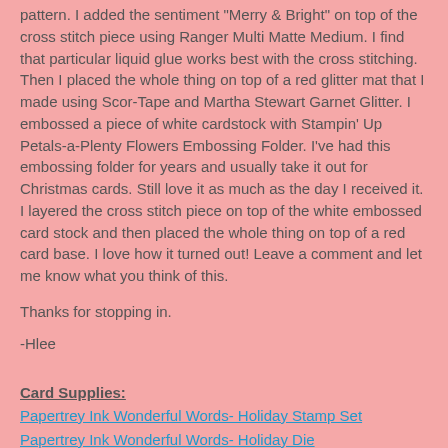pattern.  I added the sentiment "Merry & Bright" on top of the cross stitch piece using Ranger Multi Matte Medium.  I find that particular liquid glue works best with the cross stitching.  Then I placed the whole thing on top of a red glitter mat that I made using Scor-Tape and Martha Stewart Garnet Glitter.  I embossed a piece of white cardstock with Stampin' Up Petals-a-Plenty Flowers Embossing Folder.  I've had this embossing folder for years and usually take it out for Christmas cards.  Still love it as much as the day I received it.  I layered the cross stitch piece on top of the white embossed card stock and then placed the whole thing on top of a red card base.  I love how it turned out! Leave a comment and let me know what you think of this.
Thanks for stopping in.
-Hlee
Card Supplies:
Papertrey Ink Wonderful Words- Holiday Stamp Set
Papertrey Ink Wonderful Words- Holiday Die